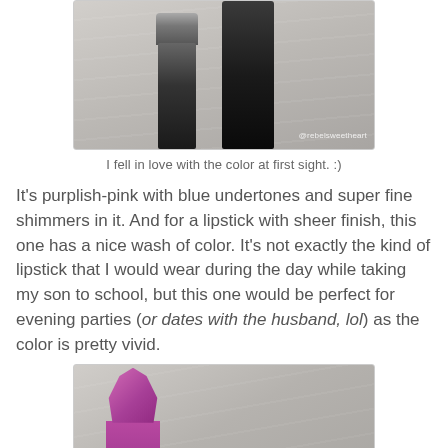[Figure (photo): Two lipstick caps (one shorter silver/black, one taller black) standing upright on a light wooden surface, with watermark '@rebelsweetheart']
I fell in love with the color at first sight. :)
It's purplish-pink with blue undertones and super fine shimmers in it. And for a lipstick with sheer finish, this one has a nice wash of color. It's not exactly the kind of lipstick that I would wear during the day while taking my son to school, but this one would be perfect for evening parties (or dates with the husband, lol) as the color is pretty vivid.
[Figure (photo): Close-up of a vivid purplish-pink Avon lipstick bullet out of its cap, with the black cap visible to the right, on a light wooden surface]